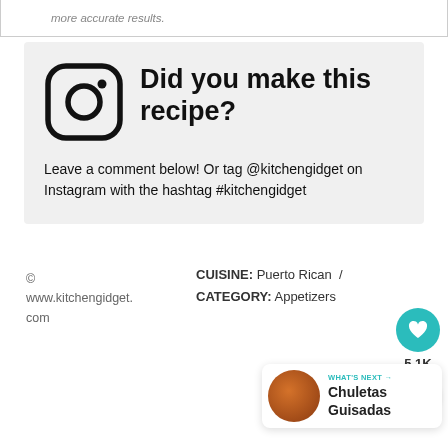more accurate results.
[Figure (infographic): Instagram logo icon with bold text: Did you make this recipe? Followed by text: Leave a comment below! Or tag @kitchengidget on Instagram with the hashtag #kitchengidget]
© www.kitchengidget.com
CUISINE: Puerto Rican / CATEGORY: Appetizers
5.1K
WHAT'S NEXT → Chuletas Guisadas